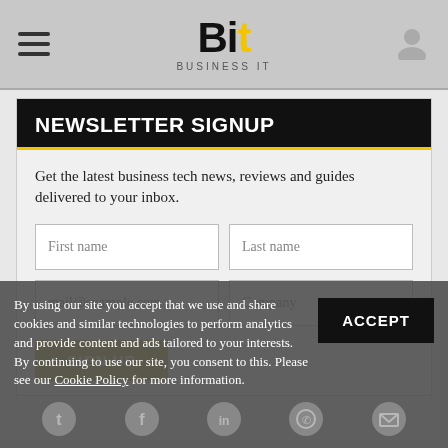Bit Business IT
NEWSLETTER SIGNUP
Get the latest business tech news, reviews and guides delivered to your inbox.
First name
Last name
mail@example.com
Company
SIGN UP
By using our site you accept that we use and share cookies and similar technologies to perform analytics and provide content and ads tailored to your interests. By continuing to use our site, you consent to this. Please see our Cookie Policy for more information.